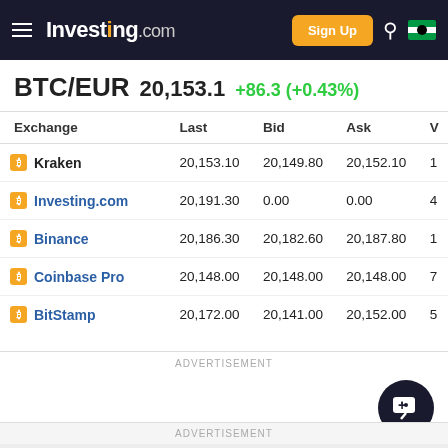Investing.com — Sign Up
BTC/EUR 20,153.1 +86.3 (+0.43%)
| Exchange | Last | Bid | Ask | V |
| --- | --- | --- | --- | --- |
| Kraken | 20,153.10 | 20,149.80 | 20,152.10 | 1 |
| Investing.com | 20,191.30 | 0.00 | 0.00 | 4 |
| Binance | 20,186.30 | 20,182.60 | 20,187.80 | 1 |
| Coinbase Pro | 20,148.00 | 20,148.00 | 20,148.00 | 7 |
| BitStamp | 20,172.00 | 20,141.00 | 20,152.00 | 5 |